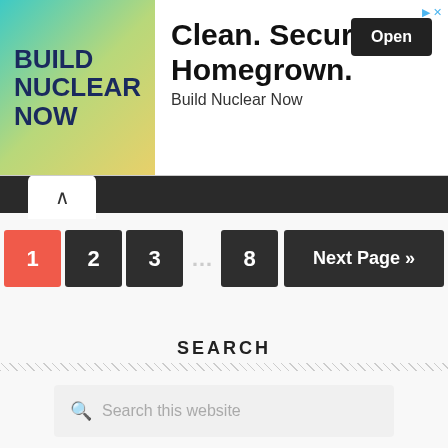[Figure (screenshot): Advertisement banner: 'Build Nuclear Now' with text 'Clean. Secure. Homegrown.' and an Open button]
^
1
2
3
...
8
Next Page »
SEARCH
Search this website